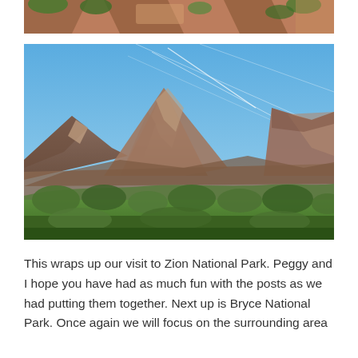[Figure (photo): Partial view of red rock canyon with green vegetation, top portion of a landscape photo]
[Figure (photo): Zion National Park landscape showing large red rock mountain peaks against a blue sky with scattered contrails, with green trees in the foreground]
This wraps up our visit to Zion National Park. Peggy and I hope you have had as much fun with the posts as we had putting them together. Next up is Bryce National Park. Once again we will focus on the surrounding area